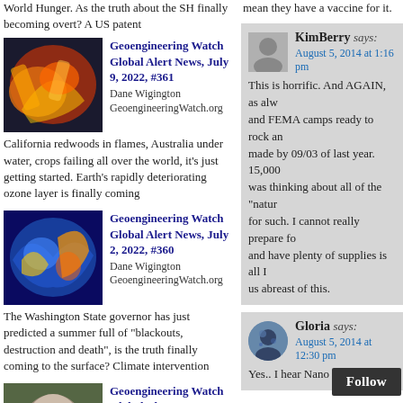World Hunger. As the truth about the SH finally becoming overt? A US patent
[Figure (illustration): Thumbnail image with fiery orange and dark swirling patterns]
Geoengineering Watch Global Alert News, July 9, 2022, #361
Dane Wigington GeoengineeringWatch.org California redwoods in flames, Australia under water, crops failing all over the world, it's just getting started. Earth's rapidly deteriorating ozone layer is finally coming
[Figure (illustration): Thumbnail image with blue, yellow and orange swirling storm pattern]
Geoengineering Watch Global Alert News, July 2, 2022, #360
Dane Wigington GeoengineeringWatch.org The Washington State governor has just predicted a summer full of "blackouts, destruction and death", is the truth finally coming to the surface? Climate intervention
[Figure (photo): Thumbnail image of a koala or animal face]
Geoengineering Watch Global Alert News, June 25, 2022, #359
Dane Wigington
mean they have a vaccine for it.
KimBerry says:
August 5, 2014 at 1:16 pm
This is horrific. And AGAIN, as alw and FEMA camps ready to rock an made by 09/03 of last year. 15,000 was thinking about all of the "natur for such. I cannot really prepare fo and have plenty of supplies is all I us abreast of this.
Gloria says:
August 5, 2014 at 12:30 pm
Yes.. I hear Nano Si